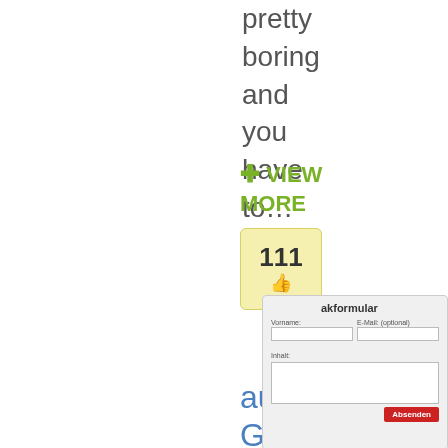pretty boring and you have to…
+ VIEW MORE
[Figure (other): Likes counter box showing 111 with a thumbs up icon, styled with yellow/green background]
[Figure (screenshot): Contact form (Kontaktformular) with fields: Vorname, E-Mail (optional), Inhalt, and an Absenden button. Has a Css3 badge overlay.]
auf Grafiken